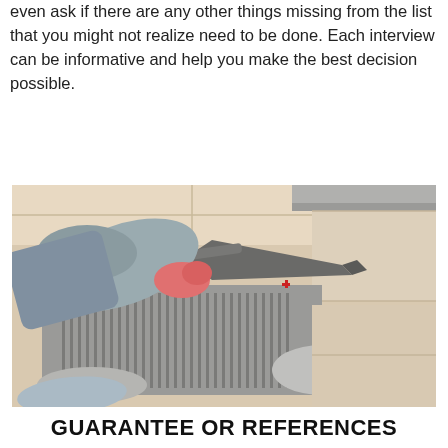even ask if there are any other things missing from the list that you might not realize need to be done. Each interview can be informative and help you make the best decision possible.
[Figure (photo): A tiler wearing a grey jacket and pink gloves spreading grey adhesive mortar with a notched trowel on a floor, with large light-coloured tiles visible around the adhesive area.]
GUARANTEE OR REFERENCES